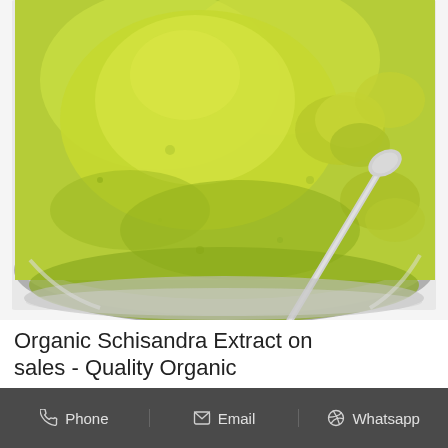[Figure (photo): Close-up photo of bright yellow-green powder (Schisandra extract) piled in a stainless steel bowl with a metal spoon resting in the powder]
Organic Schisandra Extract on sales - Quality Organic
Phone   Email   Whatsapp